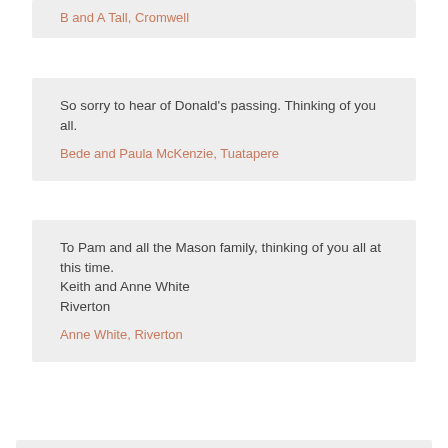B and A Tall, Cromwell
So sorry to hear of Donald’s passing. Thinking of you all.
Bede and Paula McKenzie, Tuatapere
To Pam and all the Mason family, thinking of you all at this time.
Keith and Anne White
Riverton
Anne White, Riverton